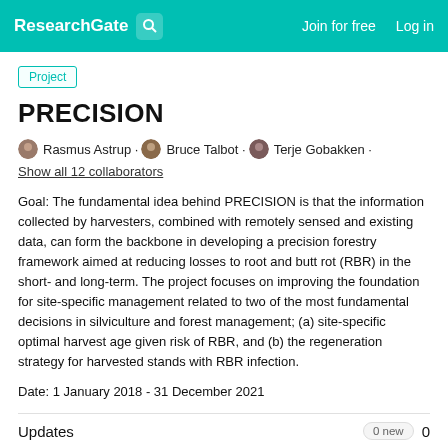ResearchGate  Join for free  Log in
Project
PRECISION
Rasmus Astrup · Bruce Talbot · Terje Gobakken · Show all 12 collaborators
Goal: The fundamental idea behind PRECISION is that the information collected by harvesters, combined with remotely sensed and existing data, can form the backbone in developing a precision forestry framework aimed at reducing losses to root and butt rot (RBR) in the short- and long-term. The project focuses on improving the foundation for site-specific management related to two of the most fundamental decisions in silviculture and forest management; (a) site-specific optimal harvest age given risk of RBR, and (b) the regeneration strategy for harvested stands with RBR infection.
Date: 1 January 2018 - 31 December 2021
Updates  0 new  0